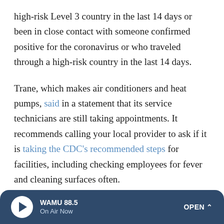high-risk Level 3 country in the last 14 days or been in close contact with someone confirmed positive for the coronavirus or who traveled through a high-risk country in the last 14 days.
Trane, which makes air conditioners and heat pumps, said in a statement that its service technicians are still taking appointments. It recommends calling your local provider to ask if it is taking the CDC's recommended steps for facilities, including checking employees for fever and cleaning surfaces often.
A few other commonsense tips from Trane if you do need an emergency repair: Have discussions outside, if possible.
WAMU 88.5 · On Air Now · OPEN